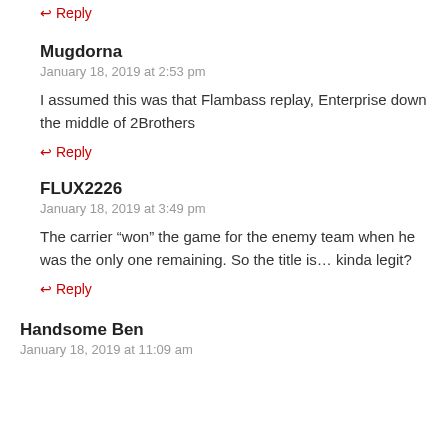↩ Reply
Mugdorna
January 18, 2019 at 2:53 pm
I assumed this was that Flambass replay, Enterprise down the middle of 2Brothers
↩ Reply
FLUX2226
January 18, 2019 at 3:49 pm
The carrier "won" the game for the enemy team when he was the only one remaining. So the title is… kinda legit?
↩ Reply
Handsome Ben
January 18, 2019 at 11:09 am